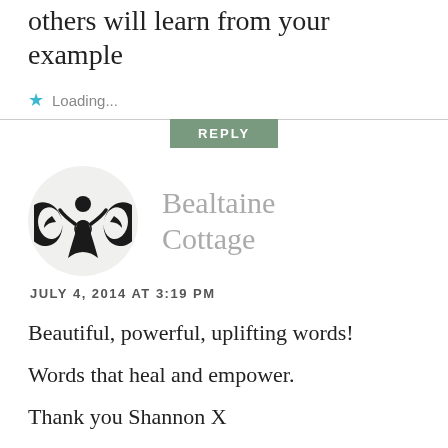others will learn from your example
Loading...
REPLY
[Figure (logo): Circular avatar with a triple moon goddess symbol in black on light grey background]
Bealtaine Cottage
JULY 4, 2014 AT 3:19 PM
Beautiful, powerful, uplifting words!
Words that heal and empower.
Thank you Shannon X